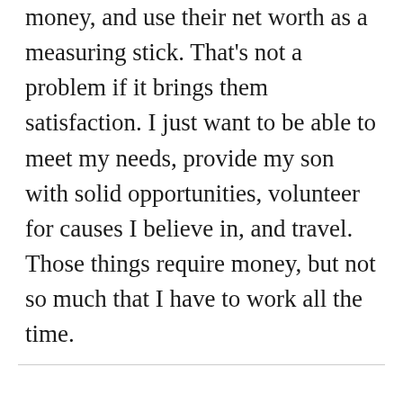money, and use their net worth as a measuring stick. That's not a problem if it brings them satisfaction. I just want to be able to meet my needs, provide my son with solid opportunities, volunteer for causes I believe in, and travel. Those things require money, but not so much that I have to work all the time.